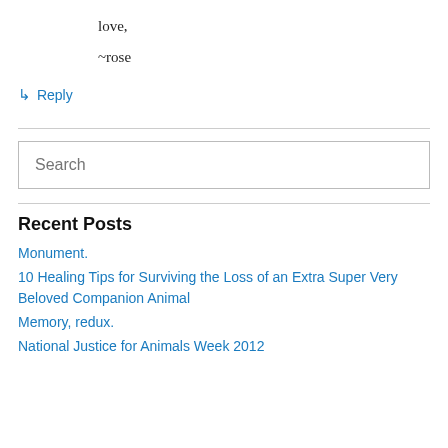love,
~rose
↳ Reply
Search
Recent Posts
Monument.
10 Healing Tips for Surviving the Loss of an Extra Super Very Beloved Companion Animal
Memory, redux.
National Justice for Animals Week 2012